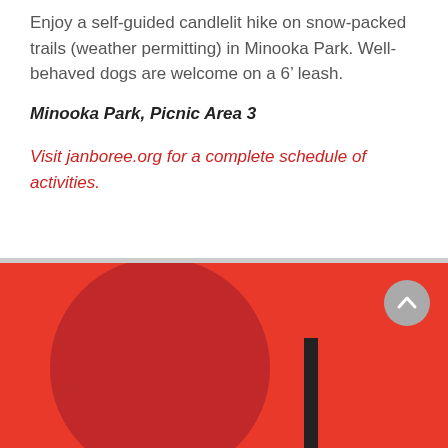Enjoy a self-guided candlelit hike on snow-packed trails (weather permitting) in Minooka Park. Well-behaved dogs are welcome on a 6’ leash.
Minooka Park, Picnic Area 3
Visit janboree.org for a complete schedule of activities.
[Figure (illustration): Red background section with a dark red circle shape and a dark vertical bar, plus a circular scroll-up button in gray]